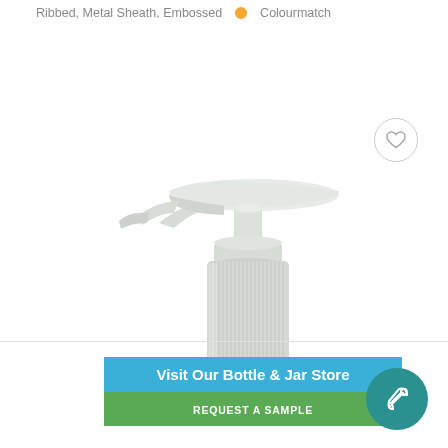Ribbed, Metal Sheath, Embossed  🟠  Colourmatch
[Figure (photo): White plastic lotion/soap pump dispenser with ribbed cylindrical base and flat wide pump head, photographed on white background]
Visit Our Bottle & Jar Store
REQUEST A SAMPLE